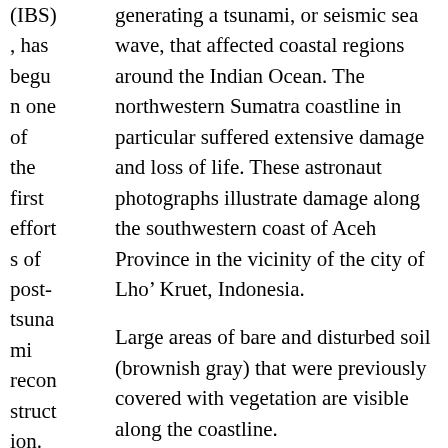(IBS) , has begun one of the first efforts of post-tsunami reconstruction. IBS
generating a tsunami, or seismic sea wave, that affected coastal regions around the Indian Ocean. The northwestern Sumatra coastline in particular suffered extensive damage and loss of life. These astronaut photographs illustrate damage along the southwestern coast of Aceh Province in the vicinity of the city of Lho' Kruet, Indonesia.

Large areas of bare and disturbed soil (brownish gray) that were previously covered with vegetation are visible along the coastline.

Image Science and Analysis Laboratory, NASA-Johnson Space Center. 10 May 2005. “Earth Sciences and Image Analysis Photographic Highlights.” (21 May 2005).